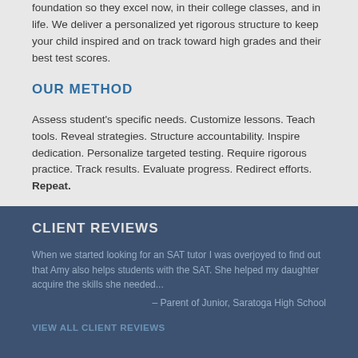foundation so they excel now, in their college classes, and in life. We deliver a personalized yet rigorous structure to keep your child inspired and on track toward high grades and their best test scores.
OUR METHOD
Assess student's specific needs. Customize lessons. Teach tools. Reveal strategies. Structure accountability. Inspire dedication. Personalize targeted testing. Require rigorous practice. Track results. Evaluate progress. Redirect efforts. Repeat.
CLIENT REVIEWS
When we started looking for an SAT tutor I was overjoyed to find out that Amy also helps students with the SAT. She helped my daughter acquire the skills she needed...
– Parent of Junior, Saratoga High School
VIEW ALL CLIENT REVIEWS